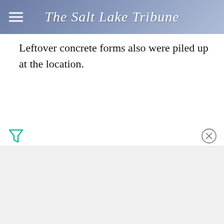The Salt Lake Tribune
Leftover concrete forms also were piled up at the location.
[Figure (logo): Advertisement close button and filter icon at bottom of page]
[Figure (other): Gray advertisement banner area at bottom of page]